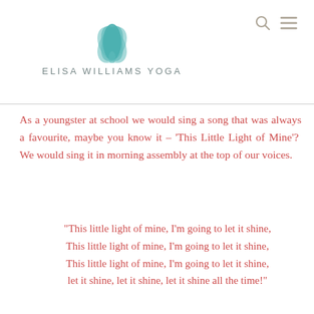ELISA WILLIAMS YOGA
As a youngster at school we would sing a song that was always a favourite, maybe you know it – 'This Little Light of Mine'?  We would sing it in morning assembly at the top of our voices.
“This little light of mine, I’m going to let it shine,
This little light of mine, I’m going to let it shine,
This little light of mine, I’m going to let it shine,
let it shine, let it shine, let it shine all the time!”